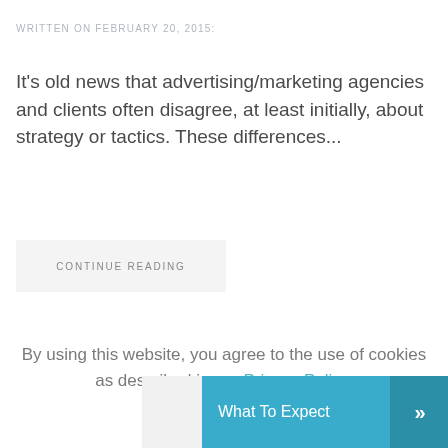WRITTEN ON FEBRUARY 20, 2015:
It's old news that advertising/marketing agencies and clients often disagree, at least initially, about strategy or tactics. These differences...
CONTINUE READING
By using this website, you agree to the use of cookies as described in our Privacy Policy.
What To Expect »